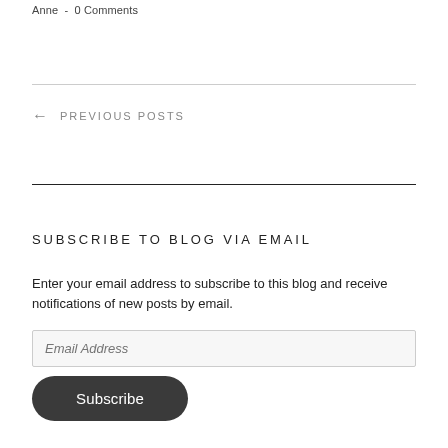Anne  -  0 Comments
← PREVIOUS POSTS
SUBSCRIBE TO BLOG VIA EMAIL
Enter your email address to subscribe to this blog and receive notifications of new posts by email.
Email Address
Subscribe